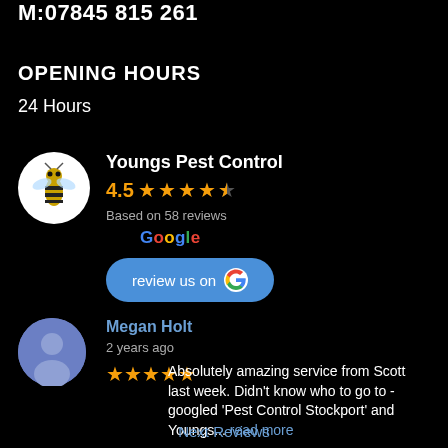M:07845 815 261
OPENING HOURS
24 Hours
Youngs Pest Control
4.5 stars
Based on 58 reviews
Google
review us on Google
Megan Holt
2 years ago
★★★★★ Absolutely amazing service from Scott last week. Didn't know who to go to - googled 'Pest Control Stockport' and Youngs... read more
Next Reviews